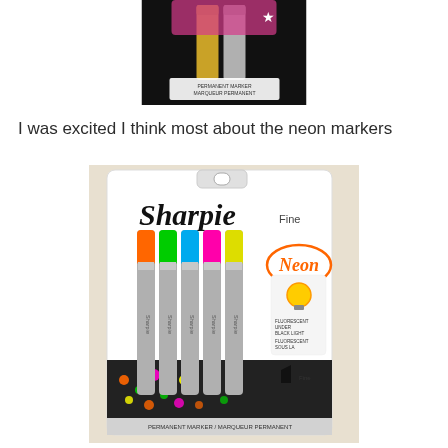[Figure (photo): Photo of metallic Sharpie markers (gold and silver) in packaging, close-up view showing 'PERMANENT MARKER' text at bottom]
I was excited I think most about the neon markers
[Figure (photo): Photo of Sharpie Fine Neon permanent markers 5-pack in retail blister packaging. Shows 5 markers in orange, green, blue, pink, and yellow neon colors. Package says 'Sharpie Fine Neon' and 'Fluorescent under black light / Fluorescent sous la lumière noire'. Bottom reads 'PERMANENT MARKER / MARQUEUR PERMANENT'.]